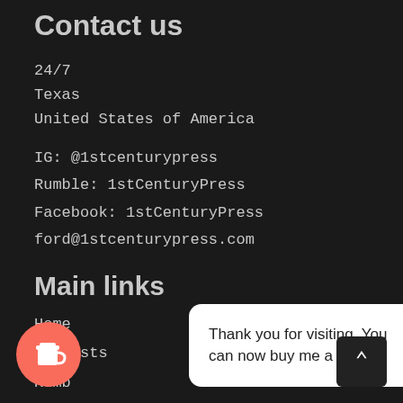Contact us
24/7
Texas
United States of America
IG: @1stcenturypress
Rumble: 1stCenturyPress
Facebook: 1stCenturyPress
ford@1stcenturypress.com
Main links
Home
Podcasts
Rumb[le]
[Figure (illustration): Pink circular 'Buy Me a Coffee' button with coffee cup icon, overlaid with a white rounded tooltip box reading 'Thank you for visiting. You can now buy me a coffee!' and a dark back-to-top button with upward caret arrow in the bottom right.]